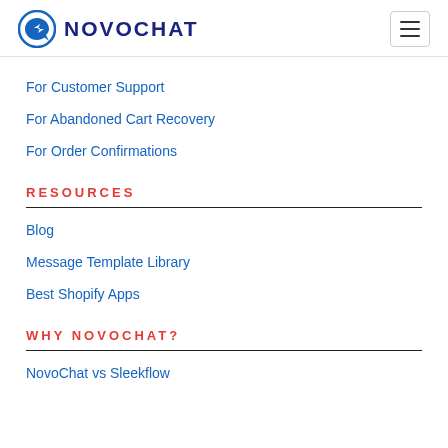NOVOCHAT
For Customer Support
For Abandoned Cart Recovery
For Order Confirmations
RESOURCES
Blog
Message Template Library
Best Shopify Apps
WHY NOVOCHAT?
NovoChat vs Sleekflow